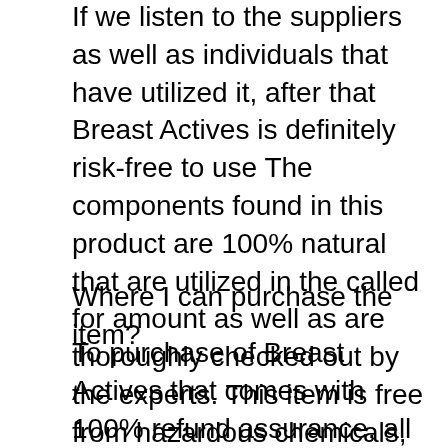If we listen to the suppliers as well as individuals that have utilized it, after that Breast Actives is definitely risk-free to use The components found in this product are 100% natural that are utilized in the called for amount as well as are thoroughly checked out by the experts. This item is free from hazardous chemicals, consequently, does not cause any type of sort of adverse effects.
Where I can purchase the item?
To purchase of Breast Actives that comes with 100% refund assurance, all you need to do is visit its main website and also place an order currently.